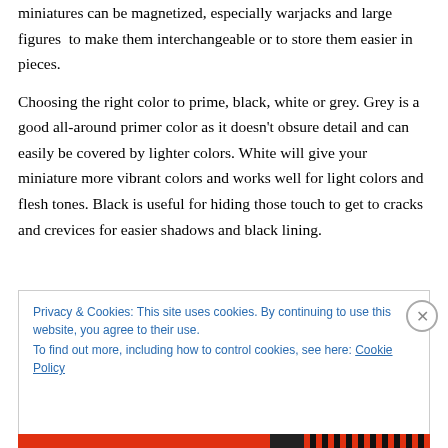miniatures can be magnetized, especially warjacks and large figures  to make them interchangeable or to store them easier in pieces.
Choosing the right color to prime, black, white or grey. Grey is a good all-around primer color as it doesn't obsure detail and can easily be covered by lighter colors. White will give your miniature more vibrant colors and works well for light colors and flesh tones. Black is useful for hiding those touch to get to cracks and crevices for easier shadows and black lining.
Privacy & Cookies: This site uses cookies. By continuing to use this website, you agree to their use.
To find out more, including how to control cookies, see here: Cookie Policy
Close and accept